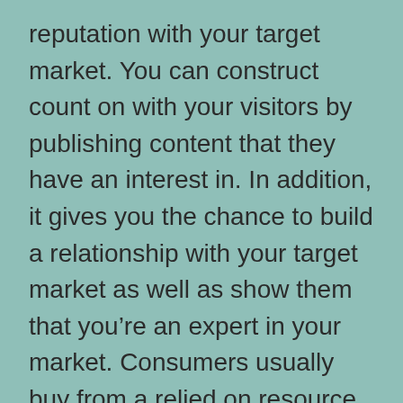reputation with your target market. You can construct count on with your visitors by publishing content that they have an interest in. In addition, it gives you the chance to build a relationship with your target market as well as show them that you're an expert in your market. Consumers usually buy from a relied on resource, so having a blog will certainly give you the chance to construct your authority in the eyes of your customers.
A blog can have several objectives and agendas, but its primary goal is to attract internet search engine traffic. The more traffic